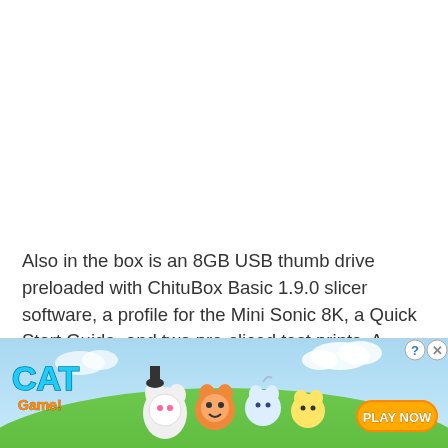Also in the box is an 8GB USB thumb drive preloaded with ChituBox Basic 1.9.0 slicer software, a profile for the Mini Sonic 8K, a Quick Start Guide, and two pre-sliced test prints. A paper Quick Start Guide is also included in the kit.
[Figure (illustration): Cat Game advertisement banner with animated cat characters on a green hill background, 'CAT Game' logo on left, 'PLAY NOW' orange button on right, close (X) and help (?) buttons in top right corner.]